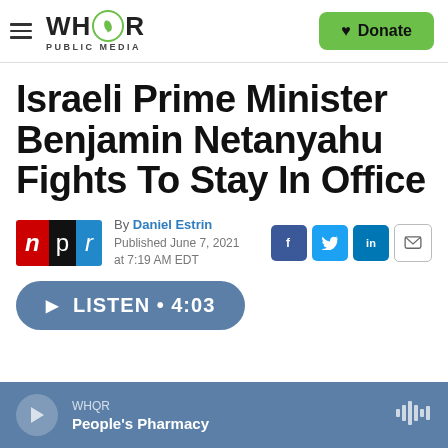WHQR PUBLIC MEDIA — Donate
Israeli Prime Minister Benjamin Netanyahu Fights To Stay In Office
By Daniel Estrin
Published June 7, 2021 at 7:19 AM EDT
LISTEN • 4:03
WHQR People's Pharmacy